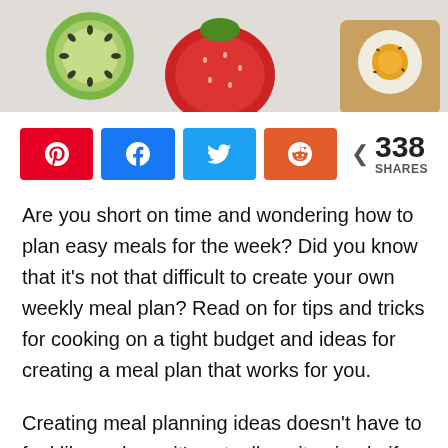[Figure (photo): Top portion of a food photo showing kiwi slices, a strawberry, and a fried egg on toast against a light background]
338 SHARES (social share buttons: Pinterest, Facebook, Twitter, Reddit)
Are you short on time and wondering how to plan easy meals for the week? Did you know that it's not that difficult to create your own weekly meal plan? Read on for tips and tricks for cooking on a tight budget and ideas for creating a meal plan that works for you.
Creating meal planning ideas doesn't have to feel like a chore, it's actually quite simple if you get into a